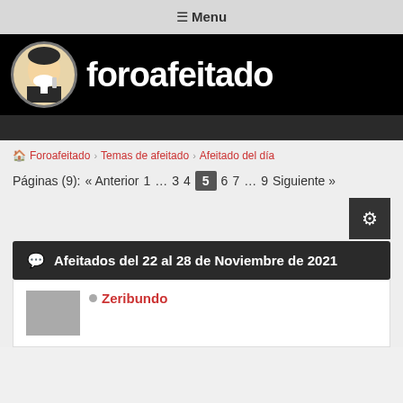☰ Menu
[Figure (logo): Foroafeitado logo: circular avatar of a man shaving with white text 'foroafeitado' on black background]
Foroafeitado › Temas de afeitado › Afeitado del día
Páginas (9): « Anterior 1 … 3 4 5 6 7 … 9 Siguiente »
Afeitados del 22 al 28 de Noviembre de 2021
Zeribundo